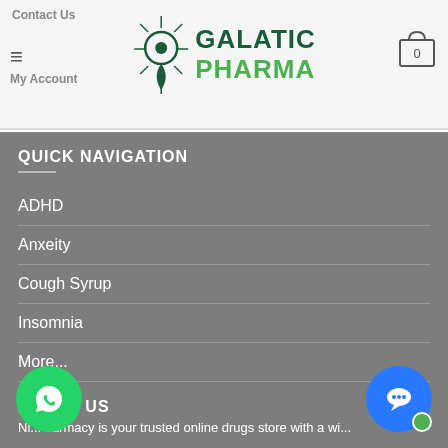Contact Us  My Account  GALATIC PHARMA  0
QUICK NAVIGATION
ADHD
Anxeity
Cough Syrup
Insomnia
More...
ABOUT US
Ni... pharmacy is your trusted online drugs store with a wi...